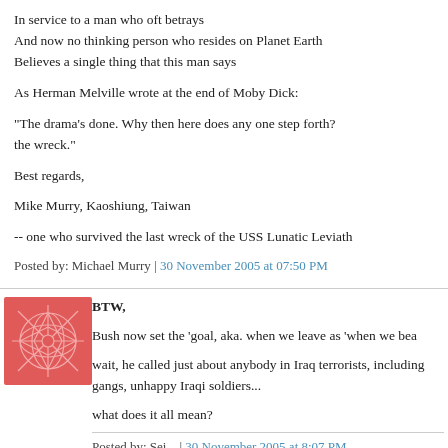In service to a man who oft betrays
And now no thinking person who resides on Planet Earth
Believes a single thing that this man says
As Herman Melville wrote at the end of Moby Dick:
"The drama's done. Why then here does any one step forth? the wreck."
Best regards,
Mike Murry, Kaoshiung, Taiwan
-- one who survived the last wreck of the USS Lunatic Leviath
Posted by: Michael Murry | 30 November 2005 at 07:50 PM
[Figure (logo): Red decorative geometric/floral logo image for second commenter]
BTW,
Bush now set the 'goal, aka. when we leave as 'when we bea
wait, he called just about anybody in Iraq terrorists, including gangs, unhappy Iraqi soldiers...
what does it all mean?
Posted by: Sei... | 30 November 2005 at 8:07 PM